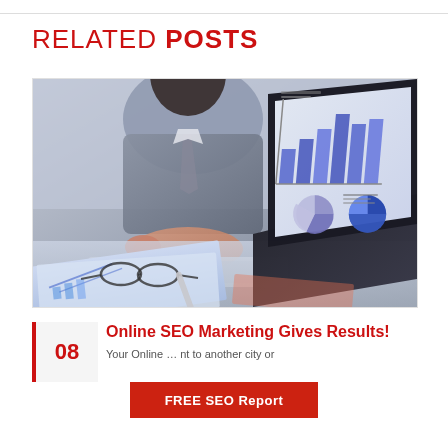RELATED POSTS
[Figure (photo): Business professional at desk with laptop showing bar charts and pie charts on screen, with glasses and pen on printed charts in foreground]
Online SEO Marketing Gives Results!
Your Online ... nt to another city or
[Figure (other): FREE SEO Report red call-to-action button]